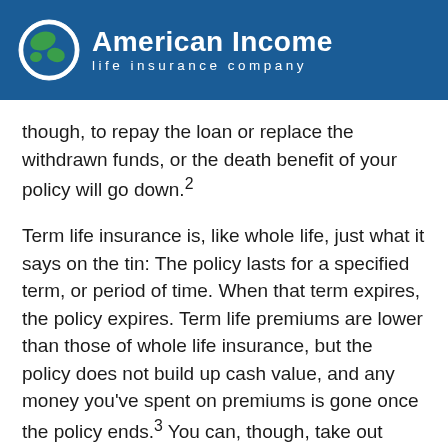American Income life insurance company
though, to repay the loan or replace the withdrawn funds, or the death benefit of your policy will go down.²
Term life insurance is, like whole life, just what it says on the tin: The policy lasts for a specified term, or period of time. When that term expires, the policy expires. Term life premiums are lower than those of whole life insurance, but the policy does not build up cash value, and any money you've spent on premiums is gone once the policy ends.³ You can, though, take out multiple term life policies, so you could take out a policy specific to the life of your mortgage, separate from any other